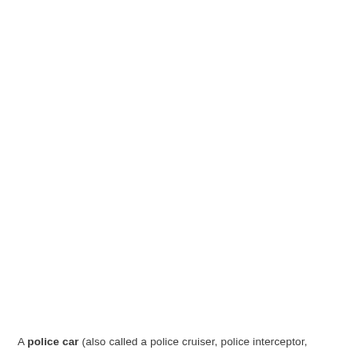A police car (also called a police cruiser, police interceptor,